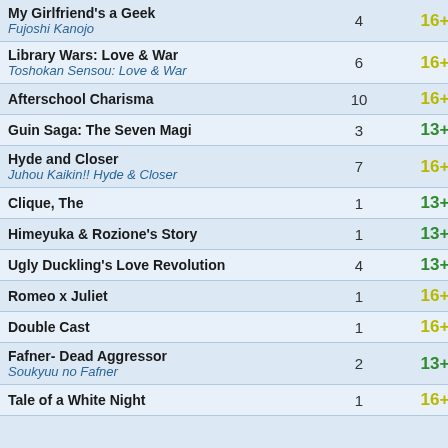| Title | Volumes | Rating |
| --- | --- | --- |
| My Girlfriend's a Geek / Fujoshi Kanojo | 4 | 16+ |
| Library Wars: Love & War / Toshokan Sensou: Love & War | 6 | 16+ |
| Afterschool Charisma | 10 | 16+ |
| Guin Saga: The Seven Magi | 3 | 13+ |
| Hyde and Closer / Juhou Kaikin!! Hyde & Closer | 7 | 16+ |
| Clique, The | 1 | 13+ |
| Himeyuka & Rozione's Story | 1 | 13+ |
| Ugly Duckling's Love Revolution | 4 | 13+ |
| Romeo x Juliet | 1 | 16+ |
| Double Cast | 1 | 16+ |
| Fafner- Dead Aggressor / Soukyuu no Fafner | 2 | 13+ |
| Tale of a White Night | 1 | 16+ |